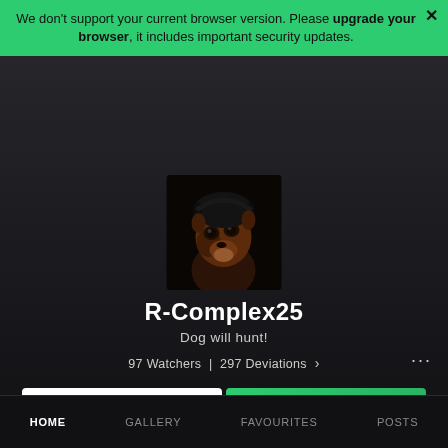We don't support your current browser version. Please upgrade your browser, it includes important security updates.
[Figure (photo): Profile avatar: a stylized/artistic character face with animal features, dark background, square thumbnail]
R-Complex25
Dog will hunt!
97 Watchers  |  297 Deviations  >
Chat
+ Watch
HOME   GALLERY   FAVOURITES   POSTS